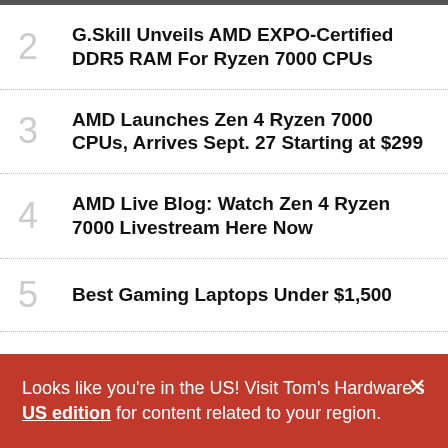2 G.Skill Unveils AMD EXPO-Certified DDR5 RAM For Ryzen 7000 CPUs
3 AMD Launches Zen 4 Ryzen 7000 CPUs, Arrives Sept. 27 Starting at $299
4 AMD Live Blog: Watch Zen 4 Ryzen 7000 Livestream Here Now
5 Best Gaming Laptops Under $1,500
Looks like you're in the US! Visit Tom's Hardware's US edition for content related to your region.